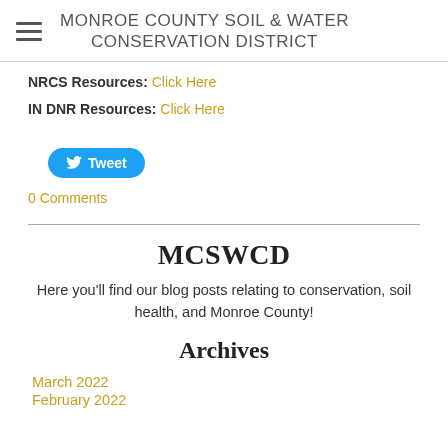MONROE COUNTY SOIL & WATER CONSERVATION DISTRICT
NRCS Resources: Click Here
IN DNR Resources: Click Here
[Figure (other): Twitter Tweet button with bird icon]
0 Comments
MCSWCD
Here you'll find our blog posts relating to conservation, soil health, and Monroe County!
Archives
March 2022
February 2022